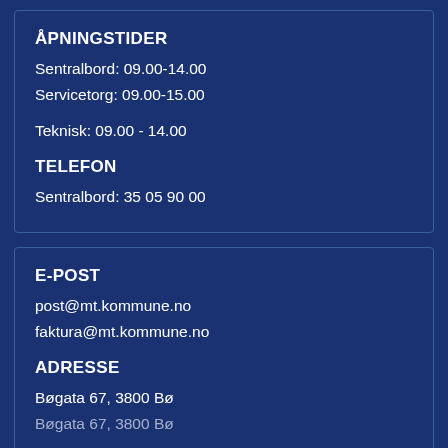ÅPNINGSTIDER
Sentralbord: 09.00-14.00
Servicetorg: 09.00-15.00
Teknisk: 09.00 - 14.00
TELEFON
Sentralbord: 35 05 90 00
E-POST
post@mt.kommune.no
faktura@mt.kommune.no
ADRESSE
Bøgata 67, 3800 Bø
Bøgata 67, 3800 Bø